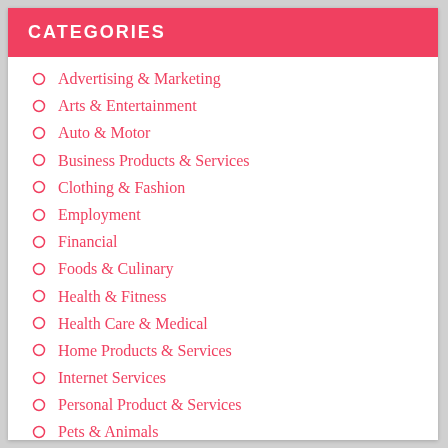CATEGORIES
Advertising & Marketing
Arts & Entertainment
Auto & Motor
Business Products & Services
Clothing & Fashion
Employment
Financial
Foods & Culinary
Health & Fitness
Health Care & Medical
Home Products & Services
Internet Services
Personal Product & Services
Pets & Animals